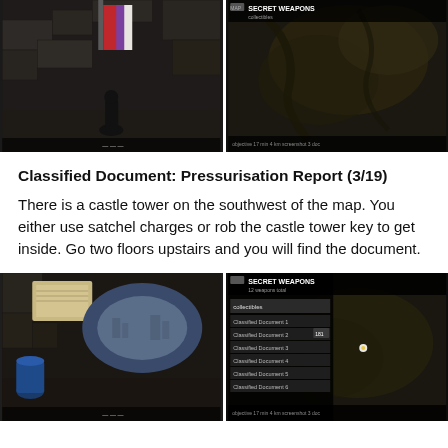[Figure (screenshot): Two side-by-side game screenshots at top: left shows a cave/dungeon interior with stone walls and a colorful flag/banner hanging; right shows a game map with 'SECRET WEAPONS' label and terrain view with a dark filter.]
Classified Document: Pressurisation Report (3/19)
There is a castle tower on the southwest of the map. You either use satchel charges or rob the castle tower key to get inside. Go two floors upstairs and you will find the document.
[Figure (screenshot): Two side-by-side game screenshots at bottom: left shows a ruined stone structure with a hole in the wall and a blue canister on the floor; right shows the same game map with 'SECRET WEAPONS' menu open showing a list of weapons.]